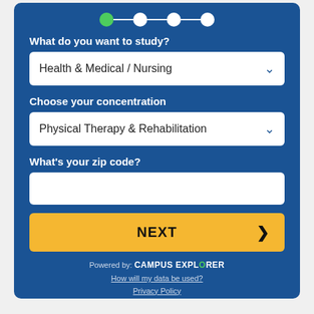[Figure (infographic): Step progress indicator with 4 circles connected by lines; first circle is green (active), remaining three are white (inactive).]
What do you want to study?
Health & Medical / Nursing
Choose your concentration
Physical Therapy & Rehabilitation
What's your zip code?
NEXT
Powered by: CAMPUS EXPLORER
How will my data be used?
Privacy Policy